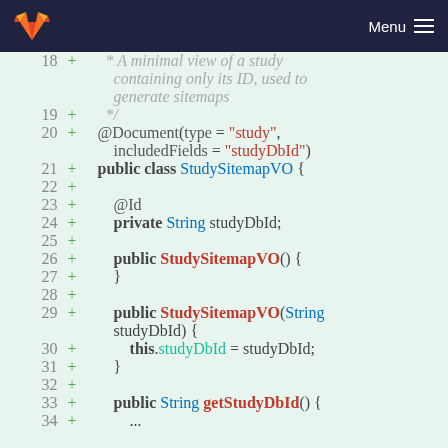GitLab | Menu
[Figure (screenshot): Code diff view showing lines 18-33 of a Java source file for StudySitemapVO class with added lines (green +) on a light green background. Lines include Javadoc comment, @Document annotation, class declaration, fields, constructors, and getter method.]